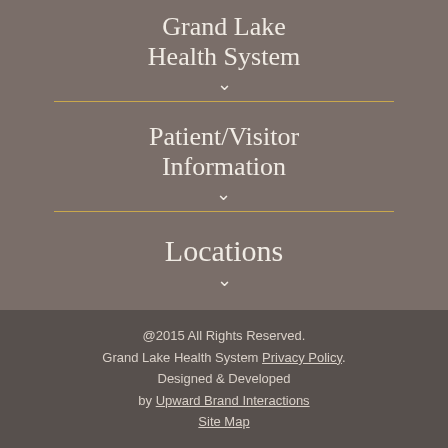Grand Lake Health System
Patient/Visitor Information
Locations
@2015 All Rights Reserved. Grand Lake Health System Privacy Policy. Designed & Developed by Upward Brand Interactions Site Map